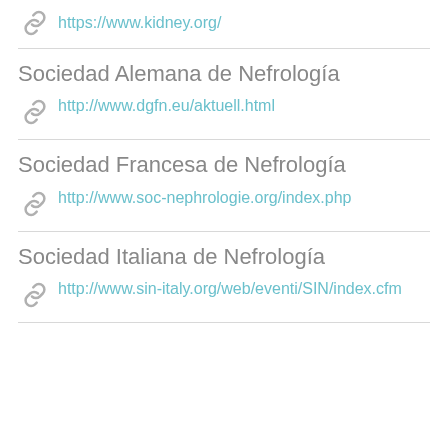https://www.kidney.org/
Sociedad Alemana de Nefrología
http://www.dgfn.eu/aktuell.html
Sociedad Francesa de Nefrología
http://www.soc-nephrologie.org/index.php
Sociedad Italiana de Nefrología
http://www.sin-italy.org/web/eventi/SIN/index.cfm